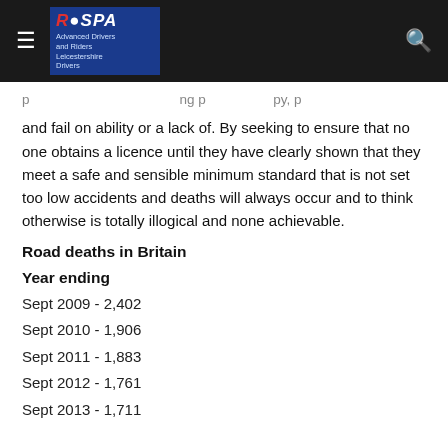RoSPA Advanced Drivers and Riders Leicestershire Drivers
and fail on ability or a lack of. By seeking to ensure that no one obtains a licence until they have clearly shown that they meet a safe and sensible minimum standard that is not set too low accidents and deaths will always occur and to think otherwise is totally illogical and none achievable.
Road deaths in Britain
Year ending
Sept 2009 - 2,402
Sept 2010  - 1,906
Sept 2011  - 1,883
Sept 2012  - 1,761
Sept 2013  - 1,711